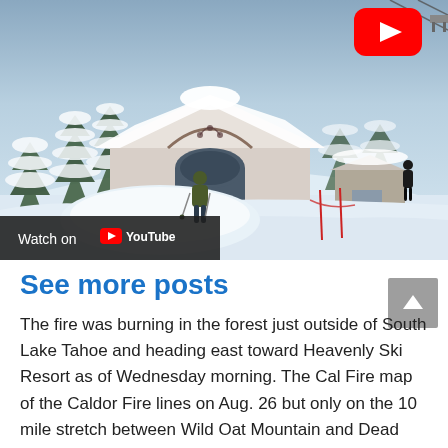[Figure (screenshot): YouTube embedded video thumbnail showing a snow-covered ski resort with a chalet building, a skier walking through deep snow, trees heavily laden with snow, and a YouTube play button in the top right corner. A 'Watch on YouTube' bar appears at the bottom left of the video.]
See more posts
The fire was burning in the forest just outside of South Lake Tahoe and heading east toward Heavenly Ski Resort as of Wednesday morning. The Cal Fire map of the Caldor Fire lines on Aug. 26 but only on the 10 mile stretch between Wild Oat Mountain and Dead Horse